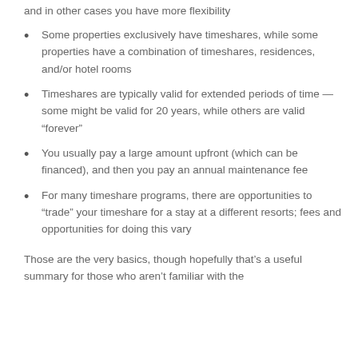and in other cases you have more flexibility
Some properties exclusively have timeshares, while some properties have a combination of timeshares, residences, and/or hotel rooms
Timeshares are typically valid for extended periods of time — some might be valid for 20 years, while others are valid “forever”
You usually pay a large amount upfront (which can be financed), and then you pay an annual maintenance fee
For many timeshare programs, there are opportunities to “trade” your timeshare for a stay at a different resorts; fees and opportunities for doing this vary
Those are the very basics, though hopefully that’s a useful summary for those who aren’t familiar with the